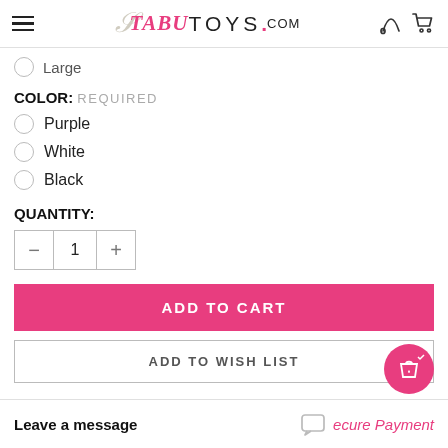TabuToys.com
Large
COLOR: REQUIRED
Purple
White
Black
QUANTITY:
1
ADD TO CART
ADD TO WISH LIST
Leave a message
ecure Payment